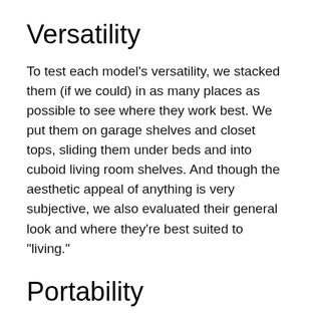Versatility
To test each model’s versatility, we stacked them (if we could) in as many places as possible to see where they work best. We put them on garage shelves and closet tops, sliding them under beds and into cuboid living room shelves. And though the aesthetic appeal of anything is very subjective, we also evaluated their general look and where they’re best suited to “living.”
Portability
Testing this metric involved a lot of toting around full bins. We checked handles for